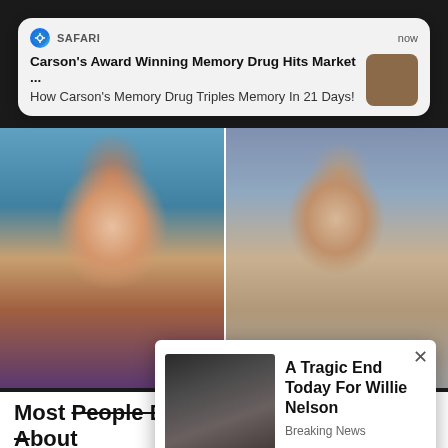[Figure (screenshot): Safari browser push notification banner showing ad: 'Carson's Award Winning Memory Drug Hits Market ...' with subtitle 'How Carson's Memory Drug Triples Memory In 21 Days!' and a thumbnail image. Shows 'SAFARI' label and 'now' timestamp.]
[Figure (photo): Split photo showing two people side by side: a woman with red hair on the left and an older man on the right.]
Most People Don't Know These Facts About Jen P...
🔥 33,0...
[Figure (screenshot): Popup ad overlay with close button (×) showing a photo of Willie Nelson and text: 'A Tragic End Today For Willie Nelson' with subtitle 'Breaking News']